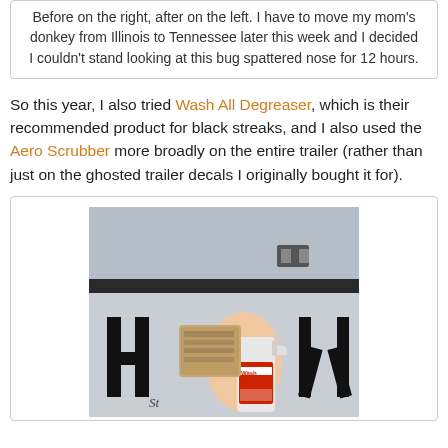Before on the right, after on the left. I have to move my mom's donkey from Illinois to Tennessee later this week and I decided I couldn't stand looking at this bug spattered nose for 12 hours.
So this year, I also tried Wash All Degreaser, which is their recommended product for black streaks, and I also used the Aero Scrubber more broadly on the entire trailer (rather than just on the ghosted trailer decals I originally bought it for).
[Figure (photo): A hand holding a spray bottle of Wash All (Aero Cosmetics) product while scrubbing a trailer surface with a pad. The trailer has large black letters visible (partially showing 'H' and 'W'). The upper portion shows a gray trailer door/panel with a latch.]